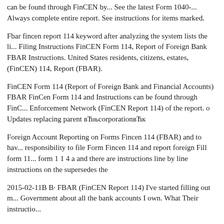can be found through FinCEN by... See the latest Form 1040-... Always complete entire report. See instructions for items marked.
Fbar fincen report 114 keyword after analyzing the system lists the li... Filing Instructions FinCEN Form 114, Report of Foreign Bank FBAR Instructions. United States residents, citizens, estates, (FinCEN) 114, Report (FBAR).
FinCEN Form 114 (Report of Foreign Bank and Financial Accounts) FBAR FinCen Form 114 and Instructions can be found through FinC... Enforcement Network (FinCEN Report 114) of the report. o Updates replacing parent вЋњcorporationвЋк
Foreign Account Reporting on Forms Fincen 114 (FBAR) and to hav... responsibility to file Form Fincen 114 and report foreign Fill form 11... form 1 1 4 a and there are instructions line by line instructions on the supersedes the
2015-02-11В В· FBAR (FinCEN Report 114) I've started filling out m... Government about all the bank accounts I own. What Their instructio...